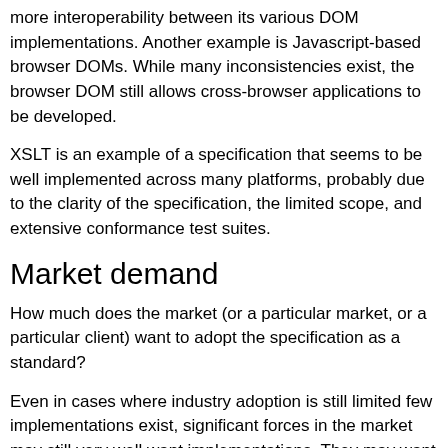more interoperability between its various DOM implementations. Another example is Javascript-based browser DOMs. While many inconsistencies exist, the browser DOM still allows cross-browser applications to be developed.
XSLT is an example of a specification that seems to be well implemented across many platforms, probably due to the clarity of the specification, the limited scope, and extensive conformance test suites.
Market demand
How much does the market (or a particular market, or a particular client) want to adopt the specification as a standard?
Even in cases where industry adoption is still limited few implementations exist, significant forces in the market may still very well want implementations. They may want this for rational reasons, or due to industry hype, or a combination of both. One good reason for adoption of a specification is its